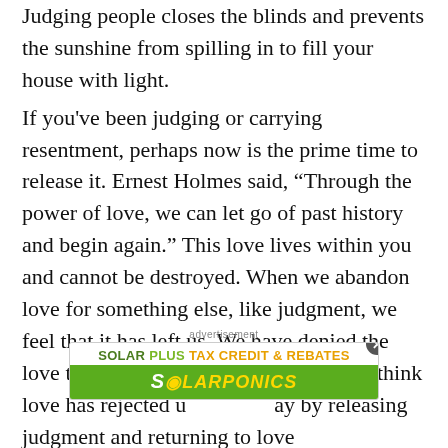Judging people closes the blinds and prevents the sunshine from spilling in to fill your house with light.
If you've been judging or carrying resentment, perhaps now is the prime time to release it. Ernest Holmes said, “Through the power of love, we can let go of past history and begin again.” This love lives within you and cannot be destroyed. When we abandon love for something else, like judgment, we feel that it has left us. We have denied the love that lives within us and mistakenly think love has rejected u...ay by releasing judgment and returning to love
[Figure (other): Advertisement overlay: 'SOLAR PLUS TAX CREDIT & REBATES' with 'SOLARPONICS' logo on green background, with close button]